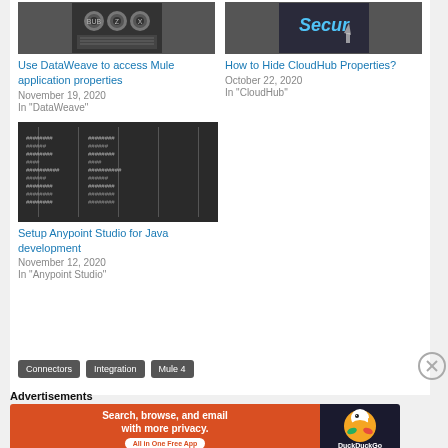[Figure (photo): Typewriter keys close-up photo]
Use DataWeave to access Mule application properties
November 19, 2020
In "DataWeave"
[Figure (photo): Security text on dark background with cursor hand]
How to Hide CloudHub Properties?
October 22, 2020
In "CloudHub"
[Figure (photo): Code on dark background - programming/development]
Setup Anypoint Studio for Java development
November 12, 2020
In "Anypoint Studio"
Connectors
Integration
Mule 4
Advertisements
[Figure (infographic): DuckDuckGo advertisement banner: Search, browse, and email with more privacy. All in One Free App.]